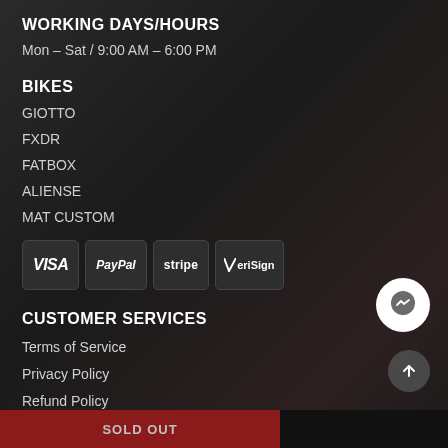WORKING DAYS/HOURS
Mon – Sat / 9:00 AM – 6:00 PM
BIKES
GIOTTO
FXDR
FATBOX
ALIENSE
MAT CUSTOM
[Figure (logo): Payment method logos: VISA, PayPal, stripe, VeriSign]
CUSTOMER SERVICES
Terms of Service
Privacy Policy
Refund Policy
[Figure (logo): Facebook Messenger chat bubble icon]
[Figure (other): Back to top arrow button]
SOLD OUT